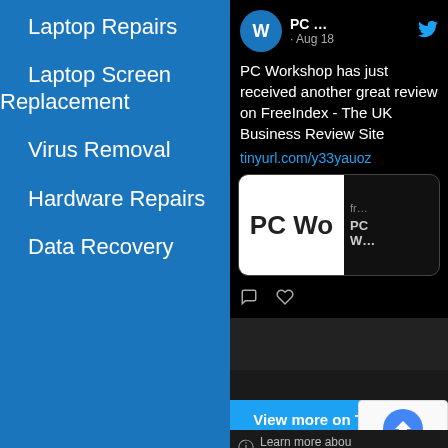Laptop Repairs
Laptop Screen Replacement
Virus Removal
Hardware Repairs
Data Recovery
[Figure (screenshot): Twitter/X embed showing a PC Workshop tweet from Aug 18 about a FreeIndex review, with profile avatar, tweet text, link tinyurl.com/y33yauoz, preview card showing PC Workshop logo, heart/comment icons, a 'View more on Twi...' button, a reCAPTCHA badge, and a 'Learn more abou... privacy on Twitter' footer bar.]